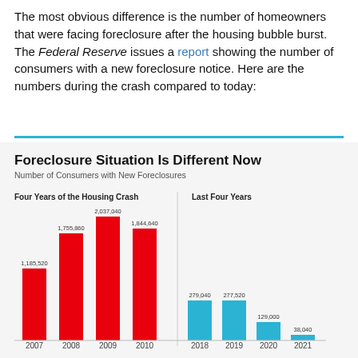The most obvious difference is the number of homeowners that were facing foreclosure after the housing bubble burst. The Federal Reserve issues a report showing the number of consumers with a new foreclosure notice. Here are the numbers during the crash compared to today:
[Figure (grouped-bar-chart): Number of Consumers with New Foreclosures — two grouped bar charts side by side: Four Years of the Housing Crash (2007-2010, red bars) and Last Four Years (2018-2021, blue bars)]